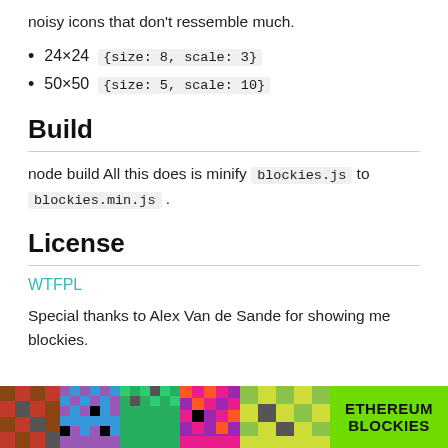noisy icons that don't ressemble much.
24×24  {size: 8, scale: 3}
50×50  {size: 5, scale: 10}
Build
node build All this does is minify blockies.js to blockies.min.js.
License
WTFPL
Special thanks to Alex Van de Sande for showing me blockies.
[Figure (illustration): Bottom strip showing colorful Ethereum blockies icons on the left and a bright green label reading ETHEREUM BLOCKIES on the right.]